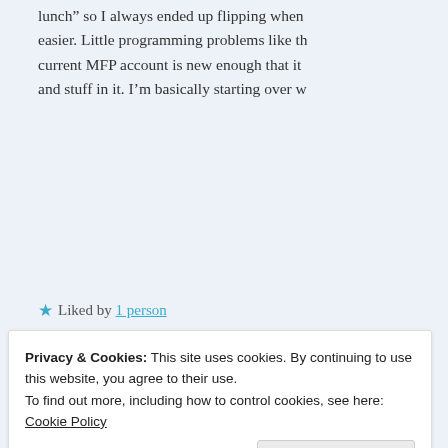lunch” so I always ended up flipping when easier. Little programming problems like th current MFP account is new enough that it and stuff in it. I’m basically starting over w
★ Liked by 1 person
Reply
[Figure (illustration): Colorful banner with orange-to-pink gradient and decorative musical/pattern motifs]
Privacy & Cookies: This site uses cookies. By continuing to use this website, you agree to their use.
To find out more, including how to control cookies, see here: Cookie Policy
Close and accept